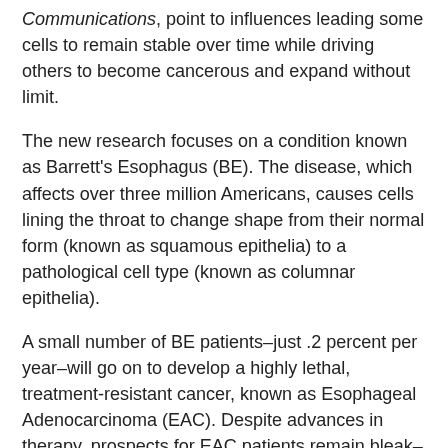Communications, point to influences leading some cells to remain stable over time while driving others to become cancerous and expand without limit.
The new research focuses on a condition known as Barrett's Esophagus (BE). The disease, which affects over three million Americans, causes cells lining the throat to change shape from their normal form (known as squamous epithelia) to a pathological cell type (known as columnar epithelia).
A small number of BE patients–just .2 percent per year–will go on to develop a highly lethal, treatment-resistant cancer, known as Esophageal Adenocarcinoma (EAC). Despite advances in therapy, prospects for EAC patients remain bleak–fewer than 15 percent survive beyond 5 years. (While the incidence of EAC in the United States has remained low, it has risen alarmingly in recent years.)
Popular Stories Right now